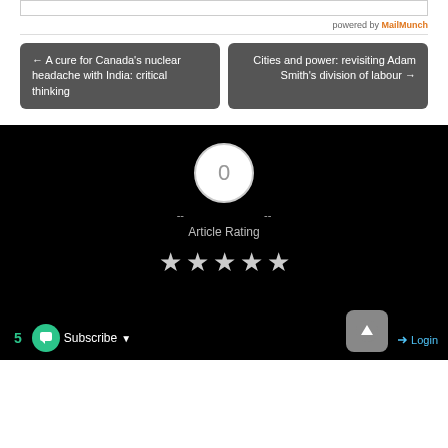powered by MailMunch
← A cure for Canada's nuclear headache with India: critical thinking
Cities and power: revisiting Adam Smith's division of labour →
[Figure (other): Article rating widget on dark background showing a 0 vote circle, dash separators, 'Article Rating' label, and 5 empty stars. Bottom bar shows '5', Subscribe button, up arrow button, and Login link.]